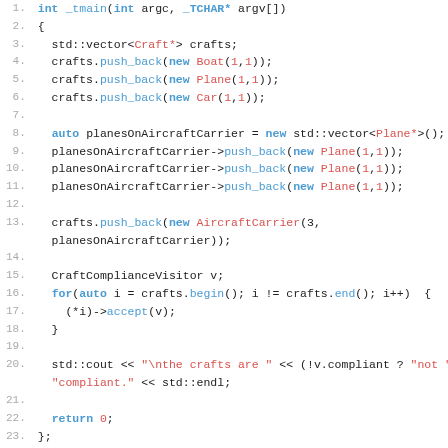[Figure (screenshot): C++ source code listing lines 1-23 showing a main function that creates craft objects, a planes vector, an AircraftCarrier, uses a CraftComplianceVisitor in a for loop, and outputs compliance status.]